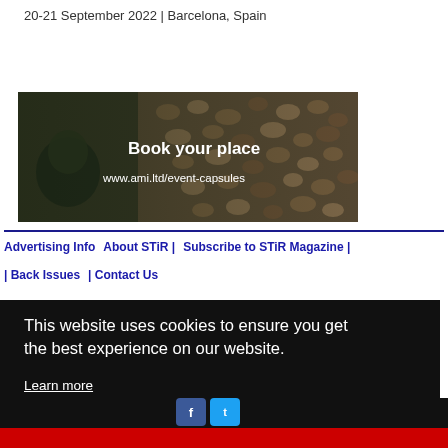20-21 September 2022 | Barcelona, Spain
[Figure (illustration): Dark banner with coffee beans background, showing 'Book your place' and URL www.ami.ltd/event-capsules]
Advertising Info | About STiR | Subscribe to STiR Magazine | | Back Issues | Contact Us
This website uses cookies to ensure you get the best experience on our website. Learn more
Got it!